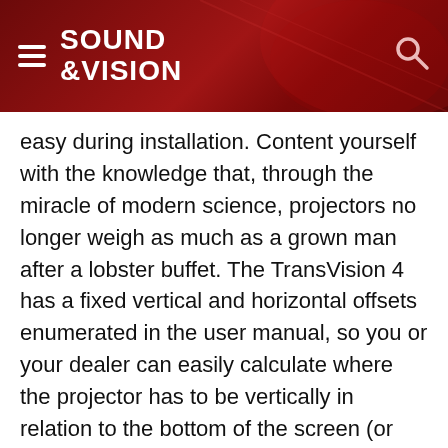SOUND &VISION
easy during installation. Content yourself with the knowledge that, through the miracle of modern science, projectors no longer weigh as much as a grown man after a lobster buffet. The TransVision 4 has a fixed vertical and horizontal offsets enumerated in the user manual, so you or your dealer can easily calculate where the projector has to be vertically in relation to the bottom of the screen (or top if you're installing this on the ceiling). Since this was not a permanent installation, the review sample ended up on the lamp table next to my viewing chair, atop a stack of coffee table books, which hitherto had served no useful purpose.